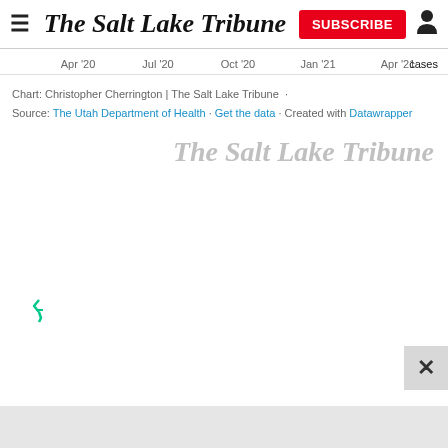The Salt Lake Tribune
[Figure (continuous-plot): Partial view of a time-series chart x-axis showing date labels: Apr '20, Jul '20, Oct '20, Jan '21, Apr '21 with a 'cases' label partially visible on the right]
Chart: Christopher Cherrington | The Salt Lake Tribune · Source: The Utah Department of Health · Get the data · Created with Datawrapper
[Figure (logo): The Salt Lake Tribune watermark logo in gray italic serif font]
[Figure (other): Freestar icon (small teal stylized F symbol) and close button (X) for advertisement]